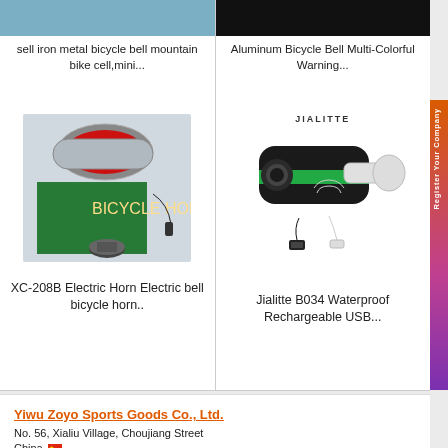[Figure (photo): Top portion of bicycle bell product image (light blue background, partial view)]
sell iron metal bicycle bell mountain bike cell,mini...
[Figure (photo): Top portion of aluminum bicycle bell product image (dark background, partial view)]
Aluminum Bicycle Bell Multi-Colorful Warning...
[Figure (photo): XC-208B Electric Horn bicycle light/horn product with red light and green box packaging]
XC-208B Electric Horn Electric bell bicycle horn..
[Figure (photo): Jialitte B034 waterproof rechargeable USB bicycle horn with mounting hardware and USB cable]
Jialitte B034 Waterproof Rechargeable USB...
Yiwu Zoyo Sports Goods Co., Ltd.
No. 56, Xialiu Village, Choujiang Street
China
[Figure (illustration): China flag emoji]